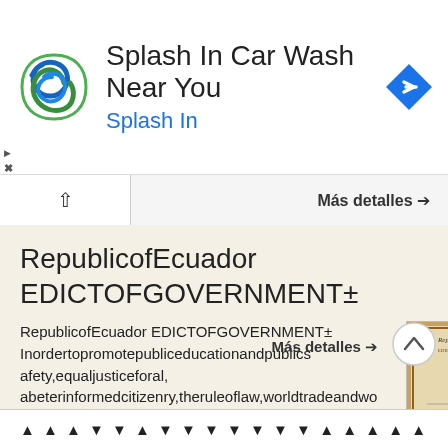[Figure (screenshot): Advertisement banner for Splash In Car Wash with logo (blue/green swirl), title text 'Splash In Car Wash Near You', subtitle 'Splash In', and a blue diamond navigation arrow icon]
Más detalles →
RepublicofEcuador
EDICTOFGOVERNMENT±
RepublicofEcuador EDICTOFGOVERNMENT± Inordertopromotepubliceducationandpublicsafety,equaljusticeforal, abeterinformedcitizenry,theruleoflaw,worldtradeandworldpeace, thislegaldocumentisherebymadeavailableonanoncommercialbasis,asit
Más detalles →
▲
▲ ▲ ▲ ▼ ▼ ▲ ▼ ▼ ▼ ▼ ▼ ▼ ▼ ▲ ▲ ▲ ▲ ▲